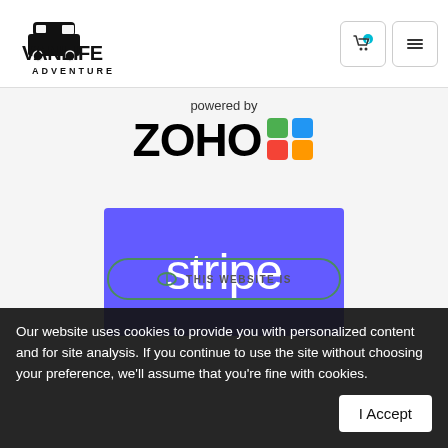[Figure (logo): VanLife Adventure logo - black van illustration with bold VANLIFE text and ADVENTURE subtitle]
[Figure (logo): Shopping cart icon button with teal badge showing 0, and hamburger menu button]
[Figure (logo): Zoho logo - powered by text above ZOHO wordmark with colorful grid icon]
[Figure (logo): Stripe logo - white stripe text on purple/indigo background rectangle]
Our website uses cookies to provide you with personalized content and for site analysis. If you continue to use the site without choosing your preference, we'll assume that you're fine with cookies.
I Accept
THIS WEBSITE IS